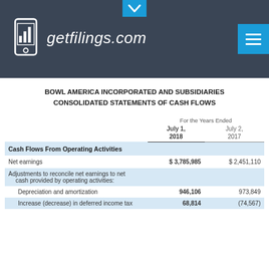getfilings.com
BOWL AMERICA INCORPORATED AND SUBSIDIARIES
CONSOLIDATED STATEMENTS OF CASH FLOWS
|  | For the Years Ended
July 1, 2018 | July 2, 2017 |
| --- | --- | --- |
| Cash Flows From Operating Activities |  |  |
| Net earnings | $ 3,785,985 | $ 2,451,110 |
| Adjustments to reconcile net earnings to net cash provided by operating activities: |  |  |
| Depreciation and amortization | 946,106 | 973,849 |
| Increase (decrease) in deferred income tax | 68,814 | (74,567) |